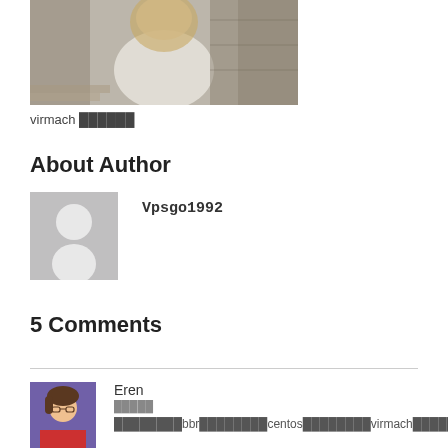[Figure (photo): Photo of a young woman with long blonde hair wearing a white dress, standing near stone steps outdoors.]
virmach ██████
About Author
[Figure (illustration): Generic grey avatar placeholder silhouette icon.]
Vpsgo1992
5 Comments
[Figure (illustration): Anime-style avatar of a person with short brown hair on a purple background.]
Eren
█████
████████bbr████████centos████████virmach██████ubuntu██